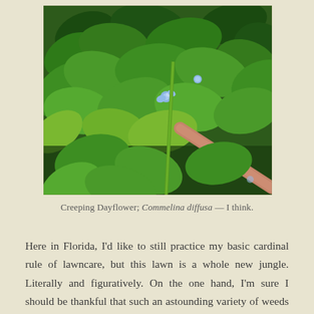[Figure (photo): Close-up photograph of dense green leafy plants (Creeping Dayflower, Commelina diffusa) with small pale blue flowers visible among the leaves. A pinkish-brown plant stem or reed is visible diagonally in the lower portion of the image.]
Creeping Dayflower; Commelina diffusa — I think.
Here in Florida, I'd like to still practice my basic cardinal rule of lawncare, but this lawn is a whole new jungle. Literally and figuratively.  On the one hand, I'm sure I should be thankful that such an astounding variety of weeds have found my soil to be an inviting place.  On the other hand, some of the woody-stemmed varieties have